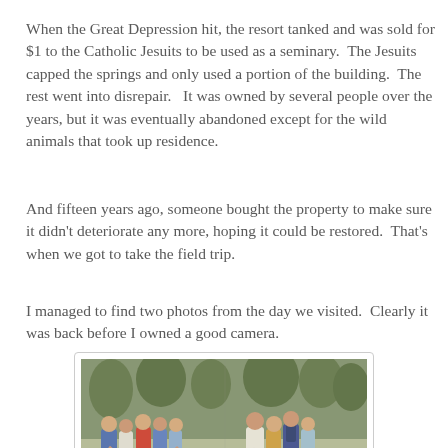When the Great Depression hit, the resort tanked and was sold for $1 to the Catholic Jesuits to be used as a seminary.  The Jesuits capped the springs and only used a portion of the building.  The rest went into disrepair.   It was owned by several people over the years, but it was eventually abandoned except for the wild animals that took up residence.
And fifteen years ago, someone bought the property to make sure it didn't deteriorate any more, hoping it could be restored.  That's when we got to take the field trip.
I managed to find two photos from the day we visited.  Clearly it was back before I owned a good camera.
[Figure (photo): A group of people, including children and adults, gathered around what appears to be a fountain or pool area outdoors. Trees are visible in the background. Photo is slightly faded/old.]